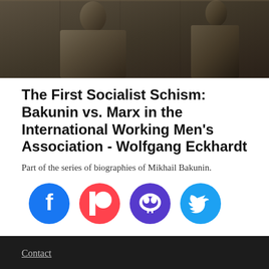[Figure (photo): Black and white historical photograph showing two figures, likely Bakunin and Marx or related historical figures]
The First Socialist Schism: Bakunin vs. Marx in the International Working Men's Association - Wolfgang Eckhardt
Part of the series of biographies of Mikhail Bakunin.
[Figure (infographic): Social media sharing icons: Facebook, Patreon, Mastodon, Twitter]
Contact
Donate
Help out